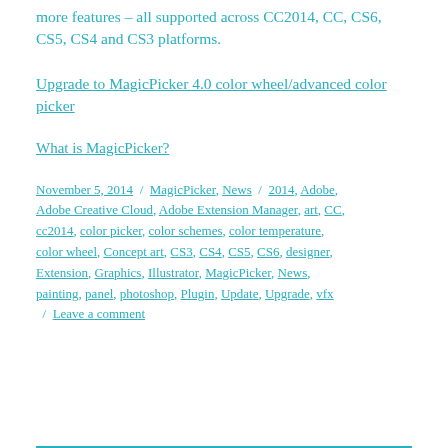more features – all supported across CC2014, CC, CS6, CS5, CS4 and CS3 platforms.
Upgrade to MagicPicker 4.0 color wheel/advanced color picker
What is MagicPicker?
November 5, 2014  /  MagicPicker, News  /  2014, Adobe, Adobe Creative Cloud, Adobe Extension Manager, art, CC, cc2014, color picker, color schemes, color temperature, color wheel, Concept art, CS3, CS4, CS5, CS6, designer, Extension, Graphics, Illustrator, MagicPicker, News, painting, panel, photoshop, Plugin, Update, Upgrade, vfx  /  Leave a comment